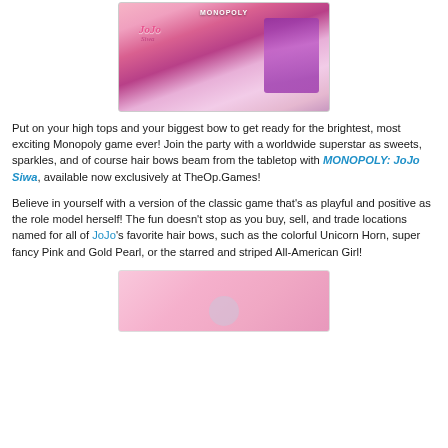[Figure (photo): JoJo Siwa Monopoly board game box photo showing the colorful board with JoJo Siwa branding]
Put on your high tops and your biggest bow to get ready for the brightest, most exciting Monopoly game ever! Join the party with a worldwide superstar as sweets, sparkles, and of course hair bows beam from the tabletop with MONOPOLY: JoJo Siwa, available now exclusively at TheOp.Games!
Believe in yourself with a version of the classic game that's as playful and positive as the role model herself! The fun doesn't stop as you buy, sell, and trade locations named for all of JoJo's favorite hair bows, such as the colorful Unicorn Horn, super fancy Pink and Gold Pearl, or the starred and striped All-American Girl!
[Figure (photo): Bottom photo showing JoJo Siwa game pieces or accessories on a pink background]